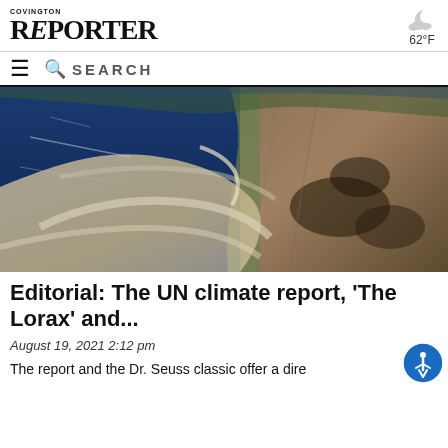COVINGTON REPORTER 62°F
SEARCH
[Figure (photo): Satellite aerial view showing smoke or dust from wildfires drifting over a coastline and ocean, with brown arid terrain on the right and deep blue ocean on the left.]
Editorial: The UN climate report, 'The Lorax' and...
August 19, 2021 2:12 pm
The report and the Dr. Seuss classic offer a dire